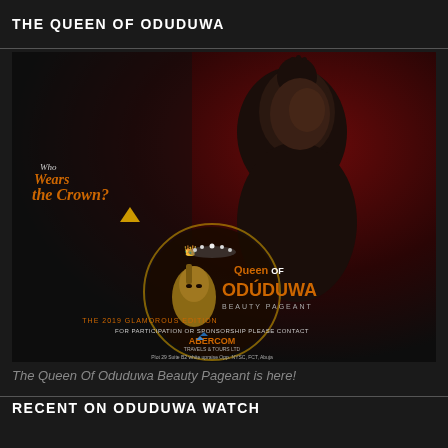THE QUEEN OF ODUDUWA
[Figure (photo): Queen of Oduduwa Beauty Pageant promotional poster. Dark red and black background showing a young Black woman with braided hair, bare shoulders, and a confident expression. Text overlay on left reads 'Who Wears the Crown?' in orange script. Center-bottom shows a circular logo with a golden Yoruba sculpture (Ife head) and text: 'Queen of Oduduwa Beauty Pageant - The 2019 Glamorous Edition - For Participation or Sponsorship Please Contact - Abercom Travels & Tours Ltd - Plot 29 Suite B2 white upraise Opp. NYSC, FCT, Abuja - 07088691666, 08028212139, 08069682864']
The Queen Of Oduduwa Beauty Pageant is here!
RECENT ON ODUDUWA WATCH